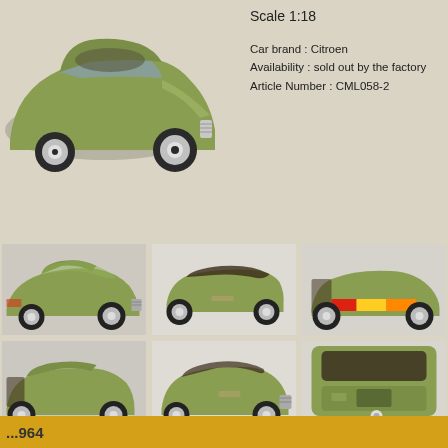[Figure (photo): Hero shot of olive green Citroen SM die-cast model car, 1:18 scale, top-left of page]
Scale 1:18

Car brand : Citroen
Availability : sold out by the factory
Article Number : CML058-2
[Figure (photo): Front 3/4 view of olive green Citroen SM convertible die-cast model]
[Figure (photo): Side view of olive green Citroen SM convertible die-cast model, top down]
[Figure (photo): Rear 3/4 view of olive green Citroen SM convertible die-cast model]
[Figure (photo): Rear-left 3/4 view of olive green Citroen SM convertible die-cast model]
[Figure (photo): Front-left 3/4 low angle view of olive green Citroen SM convertible die-cast model]
[Figure (photo): Close-up top view of the roof/engine area of olive green Citroen SM die-cast model]
...964